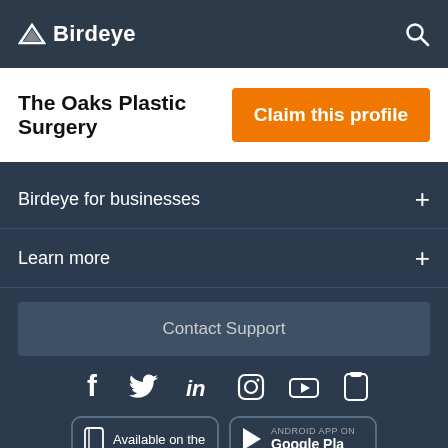Birdeye
The Oaks Plastic Surgery
Claim this profile
Birdeye for businesses
Learn more
Contact Support
Available on the
ANDROID APP ON Google Play